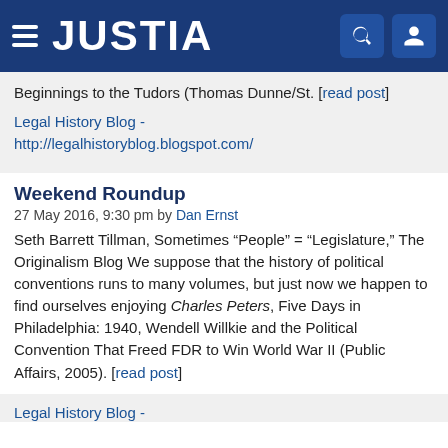[Figure (logo): Justia website header bar with hamburger menu icon, JUSTIA logo in white text on dark blue background, and search and user icons on the right]
Beginnings to the Tudors (Thomas Dunne/St. [read post]
Legal History Blog -
http://legalhistoryblog.blogspot.com/
Weekend Roundup
27 May 2016, 9:30 pm by Dan Ernst
Seth Barrett Tillman, Sometimes “People” = “Legislature,” The Originalism Blog We suppose that the history of political conventions runs to many volumes, but just now we happen to find ourselves enjoying Charles Peters, Five Days in Philadelphia: 1940, Wendell Willkie and the Political Convention That Freed FDR to Win World War II (Public Affairs, 2005). [read post]
Legal History Blog -